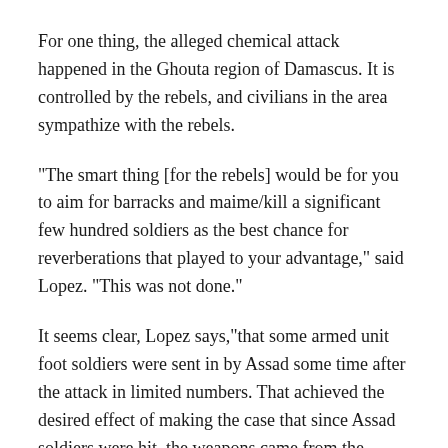For one thing, the alleged chemical attack happened in the Ghouta region of Damascus. It is controlled by the rebels, and civilians in the area sympathize with the rebels.
"The smart thing [for the rebels] would be for you to aim for barracks and maime/kill a significant few hundred soldiers as the best chance for reverberations that played to your advantage," said Lopez. "This was not done."
It seems clear, Lopez says,"that some armed unit foot soldiers were sent in by Assad some time after the attack in limited numbers. That achieved the desired effect of making the case that since Assad soldiers were hit, the weapons came from the 'terrorists;' but these were exemplars, too few to make a strategic difference for the rebels."